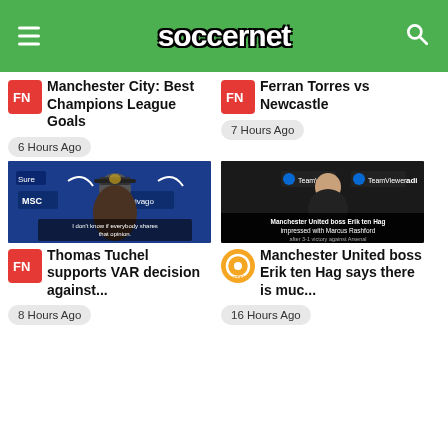soccernet
Manchester City: Best Champions League Goals
6 Hours Ago
Ferran Torres vs Newcastle
7 Hours Ago
[Figure (photo): Thomas Tuchel at Chelsea press conference with sponsors visible]
[Figure (screenshot): Manchester United boss Erik ten Hag impressed with Marcus Rashford after 3-1 victory against Arsenal]
Thomas Tuchel supports VAR decision against...
8 Hours Ago
Manchester United boss Erik ten Hag says there is muc...
16 Hours Ago